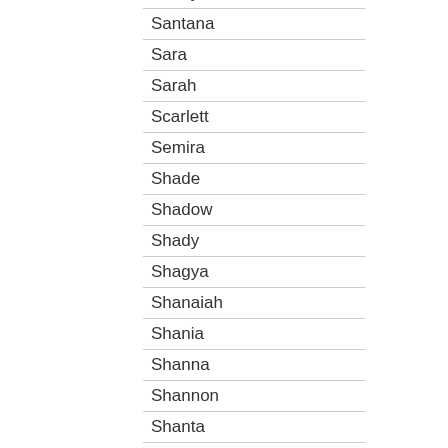| Sandy |
| Santana |
| Sara |
| Sarah |
| Scarlett |
| Semira |
| Shade |
| Shadow |
| Shady |
| Shagya |
| Shanaiah |
| Shania |
| Shanna |
| Shannon |
| Shanta |
| Shari |
| Sharita |
| Sharka |
| Sharon |
| Sheba |
| Sheena |
| Shelby |